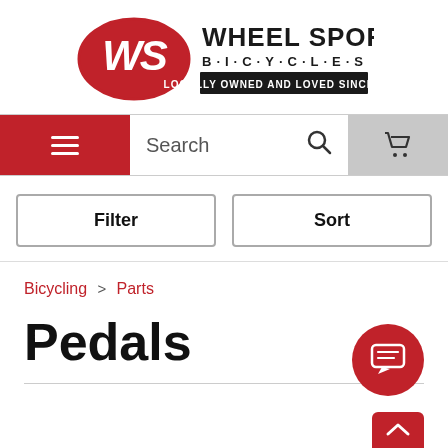[Figure (logo): Wheel Sport Bicycles logo — red oval with stylized WS script, black bold text WHEEL SPORT BICYCLES locally owned and loved since 1972]
[Figure (screenshot): Navigation bar with red hamburger menu button, search field with magnifying glass icon, and gray shopping cart icon button]
[Figure (screenshot): Filter and Sort buttons side by side]
Bicycling > Parts
Pedals
[Figure (illustration): Red circular chat/message button in bottom right, and a red scroll-to-top arrow button at very bottom right]